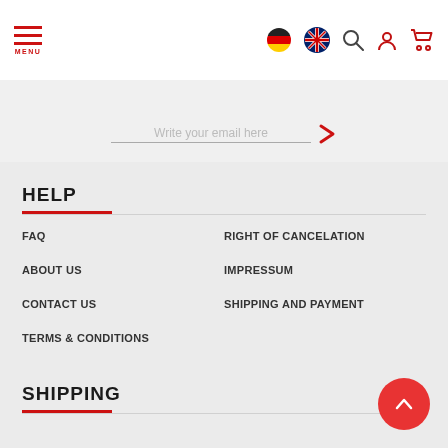Menu / Navigation header with language flags, search, account, and cart icons
Write your email here
HELP
FAQ
RIGHT OF CANCELATION
ABOUT US
IMPRESSUM
CONTACT US
SHIPPING AND PAYMENT
TERMS & CONDITIONS
SHIPPING